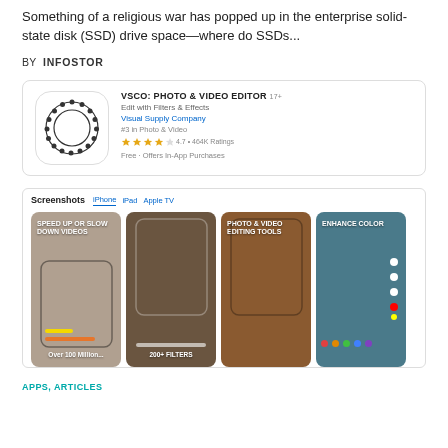Something of a religious war has popped up in the enterprise solid-state disk (SSD) drive space—where do SSDs...
BY INFOSTOR
[Figure (screenshot): App store listing for VSCO: Photo & Video Editor by Visual Supply Company. Shows app icon (circular dotted ring design), app name, subtitle 'Edit with Filters & Effects', developer name, category, star rating, and price info 'Free - Offers In-App Purchases'.]
[Figure (screenshot): App store screenshots section showing four phone screenshots: 'Speed Up or Slow Down Videos', '200+ Filters', 'Photo & Video Editing Tools', 'Enhance Color'. Tabs shown: iPhone (active/underlined), iPad, Apple TV.]
APPS, ARTICLES